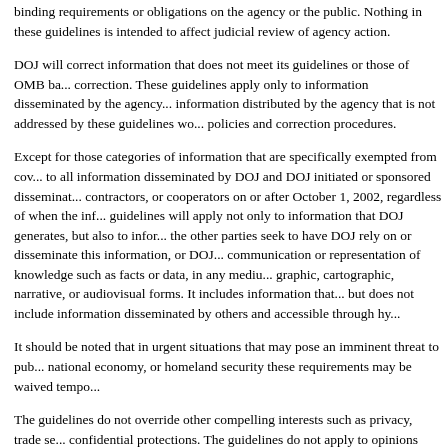binding requirements or obligations on the agency or the public. Nothing in these guidelines is intended to affect judicial review of agency action.
DOJ will correct information that does not meet its guidelines or those of OMB based on the request for correction. These guidelines apply only to information disseminated by the agency after October 1, 2002. Any information distributed by the agency that is not addressed by these guidelines would be subject to other agency policies and correction procedures.
Except for those categories of information that are specifically exempted from coverage, the guidelines apply to all information disseminated by DOJ and DOJ initiated or sponsored disseminated by grantees, contractors, or cooperators on or after October 1, 2002, regardless of when the information was produced. These guidelines will apply not only to information that DOJ generates, but also to information where the other parties seek to have DOJ rely on or disseminate this information, or DOJ relies on it. Information is any communication or representation of knowledge such as facts or data, in any medium or form, including textual, graphic, cartographic, narrative, or audiovisual forms. It includes information that DOJ disseminates electronically, but does not include information disseminated by others and accessible through hyperlinks on DOJ websites.
It should be noted that in urgent situations that may pose an imminent threat to public health or safety, the national economy, or homeland security these requirements may be waived temporarily.
The guidelines do not override other compelling interests such as privacy, trade secrets, and other confidential protections. The guidelines do not apply to opinions where the agency makes it clear the material is being offered as someone's opinion rather than fact or the agency's views. The guidelines do not apply to information disseminated in the following contexts:
limited to government employees or agency contractors or grantees unless the grantee is using, or uses the information in support of, an official agency position, or the gra...